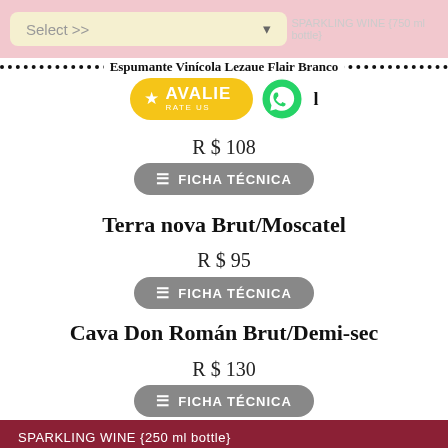[Figure (screenshot): Pink top bar with cream/yellow dropdown select box labeled 'Select >>' and a chevron, indicating a wine selection UI element]
Espumante Vinícola Lezaue Flair Branco
[Figure (other): Yellow 'AVALIE / RATE US' button with star icon, and green WhatsApp icon to the right]
R $ 108
FICHA TÉCNICA
Terra nova Brut/Moscatel
R $ 95
FICHA TÉCNICA
Cava Don Román Brut/Demi-sec
R $ 130
FICHA TÉCNICA
SPARKLING WINE {250 ml bottle}
Terra Nova Demi-sec
R $ 50